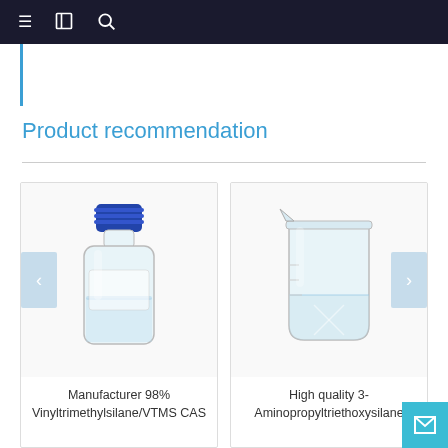≡  📋  🔍
Product recommendation
[Figure (photo): Glass bottle with blue screw cap containing clear liquid — product photo for Manufacturer 98% Vinyltrimethylsilane/VTMS CAS]
Manufacturer 98% Vinyltrimethylsilane/VTMS CAS
[Figure (photo): Glass beaker containing clear liquid — product photo for High quality 3-Aminopropyltriethoxysilane]
High quality 3-Aminopropyltriethoxysilane